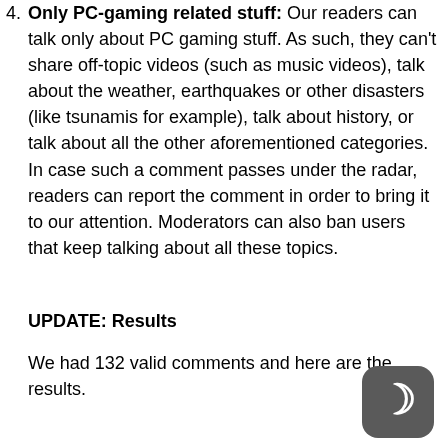4. Only PC-gaming related stuff: Our readers can talk only about PC gaming stuff. As such, they can't share off-topic videos (such as music videos), talk about the weather, earthquakes or other disasters (like tsunamis for example), talk about history, or talk about all the other aforementioned categories. In case such a comment passes under the radar, readers can report the comment in order to bring it to our attention. Moderators can also ban users that keep talking about all these topics.
UPDATE: Results
We had 132 valid comments and here are the results.
[Figure (logo): Dark gray rounded square logo with a white crescent moon C symbol]